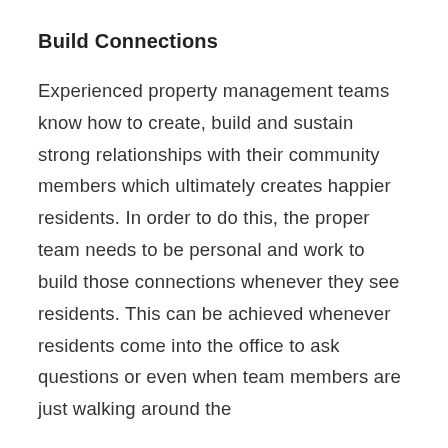Build Connections
Experienced property management teams know how to create, build and sustain strong relationships with their community members which ultimately creates happier residents. In order to do this, the proper team needs to be personal and work to build those connections whenever they see residents. This can be achieved whenever residents come into the office to ask questions or even when team members are just walking around the